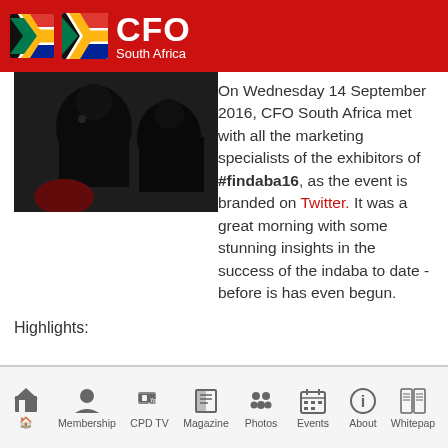CFO South Africa
[Figure (photo): People seated at an event, photographed from behind/side, dark toned image]
On Wednesday 14 September 2016, CFO South Africa met with all the marketing specialists of the exhibitors of #findaba16, as the event is branded on Twitter. It was a great morning with some stunning insights in the success of the indaba to date - before is has even begun.
Highlights:
Home  Membership  CPD TV  Magazine  Photos  Events  About  Whitepaper